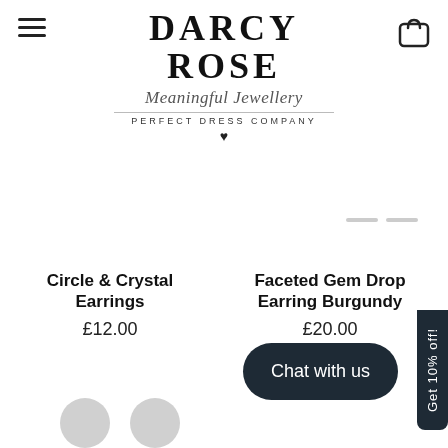[Figure (logo): Darcy Rose Meaningful Jewellery logo with PERFECT DRESS COMPANY subtitle and heart symbol]
Circle & Crystal Earrings
£12.00
Faceted Gem Drop Earring Burgundy
£20.00
Chat with us
Get 10% off!